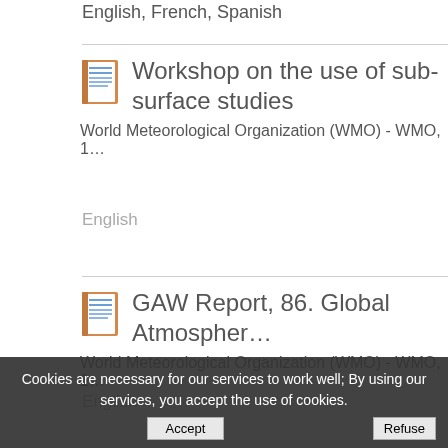English, French, Spanish
Workshop on the use of sub-surface studies
World Meteorological Organization (WMO) - WMO, 1[truncated]
English
GAW Report, 86. Global Atmospher[truncated]
World Meteorological Organization (WMO) - WMO, 1[truncated]
English
Cookies are necessary for our services to work well; By using our services, you accept the use of cookies.
GAW Report, 77. Repor[truncated]